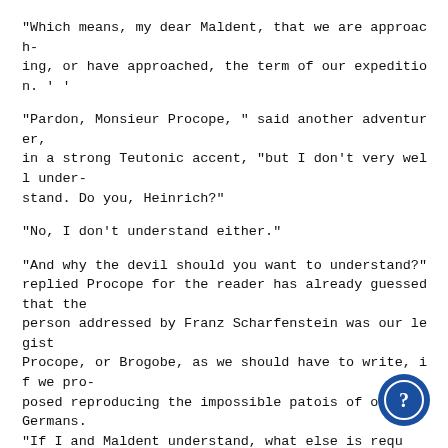"Which means, my dear Maldent, that we are approaching, or have approached, the term of our expedition. ' '
"Pardon, Monsieur Procope, " said another adventurer, in a strong Teutonic accent, "but I don't very well understand. Do you, Heinrich?"
"No, I don't understand either."
"And why the devil should you want to understand?" replied Procope for the reader has already guessed that the person addressed by Franz Scharfenstein was our legist Procope, or Brogobe, as we should have to write, if we proposed reproducing the impossible patois of our two Germans.
"If I and Maldent understand, what else is required?"